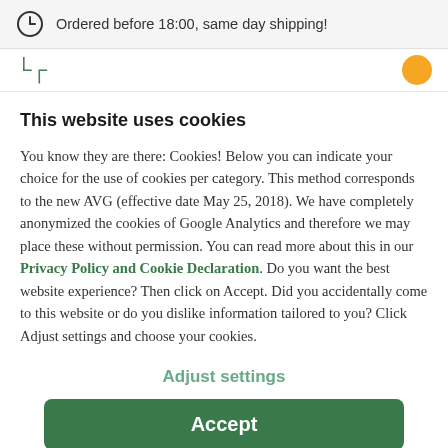Ordered before 18:00, same day shipping!
[Figure (logo): Partial website logo in green and a yellow circle icon on the right]
This website uses cookies
You know they are there: Cookies! Below you can indicate your choice for the use of cookies per category. This method corresponds to the new AVG (effective date May 25, 2018). We have completely anonymized the cookies of Google Analytics and therefore we may place these without permission. You can read more about this in our Privacy Policy and Cookie Declaration. Do you want the best website experience? Then click on Accept. Did you accidentally come to this website or do you dislike information tailored to you? Click Adjust settings and choose your cookies.
Adjust settings
Accept